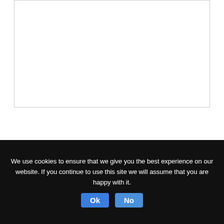[Figure (screenshot): Large empty text area input box at the top of a comment form]
[Figure (screenshot): NAME placeholder text input field]
[Figure (screenshot): EMAIL placeholder text input field]
[Figure (screenshot): Small checkbox or captcha box]
[Figure (screenshot): Orange POST YOUR COMMENT button]
We use cookies to ensure that we give you the best experience on our website. If you continue to use this site we will assume that you are happy with it.
Ok
No